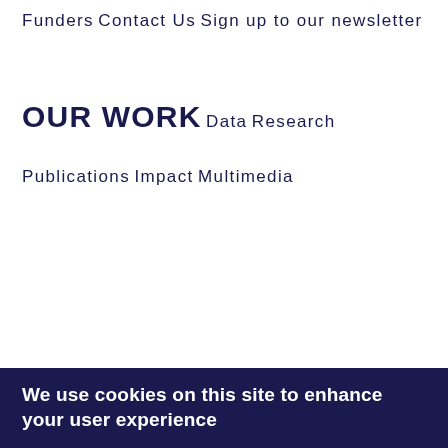Funders
Contact Us
Sign up to our newsletter
OUR WORK
Data
Research
Publications
Impact
Multimedia
We use cookies on this site to enhance your user experience